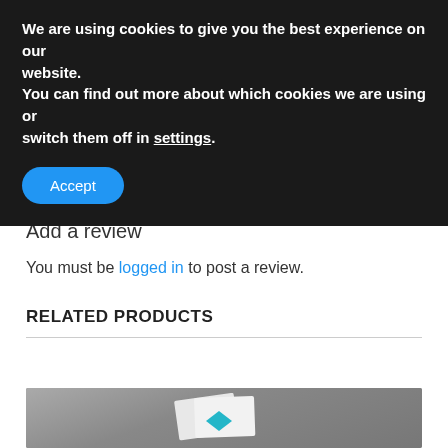We are using cookies to give you the best experience on our website.
You can find out more about which cookies we are using or switch them off in settings.
Accept
Add a review
You must be logged in to post a review.
RELATED PRODUCTS
[Figure (photo): Grey background product photo showing white envelopes or cards with a teal/green logo mark, partially visible at bottom of page]